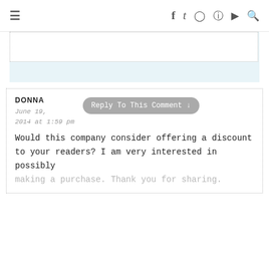≡   f  t  Instagram  Pinterest  YouTube  🔍
[Figure (screenshot): Light blue textarea/input area with a dotted-border white text field inside]
DONNA
June 19, 2014 at 1:59 pm
Reply To This Comment ↓
Would this company consider offering a discount to your readers? I am very interested in possibly making a purchase. Thank you for sharing.